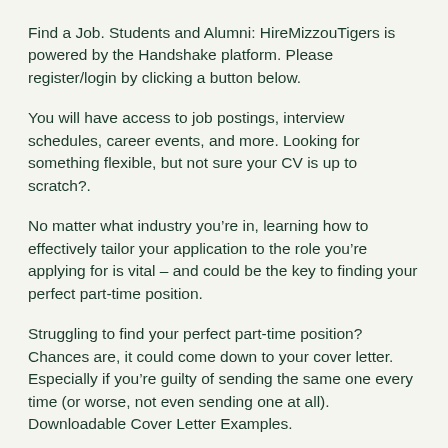Find a Job. Students and Alumni: HireMizzouTigers is powered by the Handshake platform. Please register/login by clicking a button below.
You will have access to job postings, interview schedules, career events, and more. Looking for something flexible, but not sure your CV is up to scratch?.
No matter what industry you’re in, learning how to effectively tailor your application to the role you’re applying for is vital – and could be the key to finding your perfect part-time position.
Struggling to find your perfect part-time position? Chances are, it could come down to your cover letter. Especially if you’re guilty of sending the same one every time (or worse, not even sending one at all). Downloadable Cover Letter Examples.